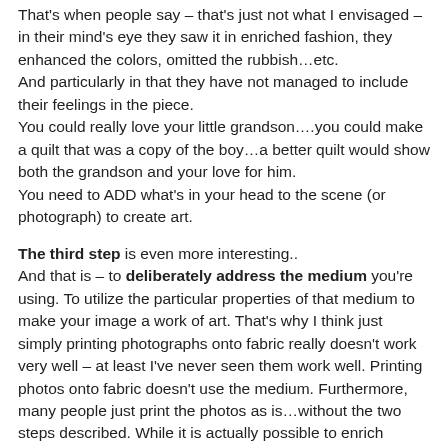That's when people say – that's just not what I envisaged – in their mind's eye they saw it in enriched fashion, they enhanced the colors, omitted the rubbish…etc.
And particularly in that they have not managed to include their feelings in the piece.
You could really love your little grandson….you could make a quilt that was a copy of the boy…a better quilt would show both the grandson and your love for him.
You need to ADD what's in your head to the scene (or photograph) to create art.
The third step is even more interesting..
And that is – to deliberately address the medium you're using. To utilize the particular properties of that medium to make your image a work of art. That's why I think just simply printing photographs onto fabric really doesn't work very well – at least I've never seen them work well. Printing photos onto fabric doesn't use the medium. Furthermore, many people just print the photos as is…without the two steps described. While it is actually possible to enrich (though not the ridiculous stifling unnatural super saturation popular amongst some photographers! ), re-organization, actually